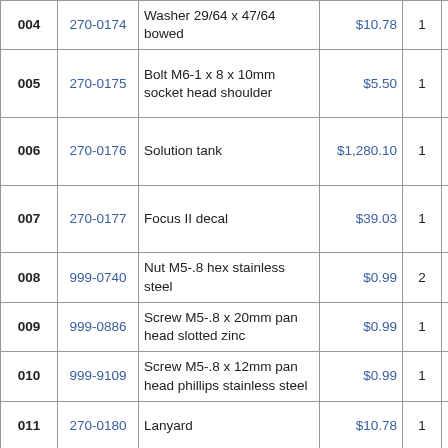| # | Part No. | Description | Price | Qty |  | Availability |
| --- | --- | --- | --- | --- | --- | --- |
| 004 | 270-0174 | Washer 29/64 x 47/64 bowed | $10.78 | 1 |  | ship: 72 d |
| 005 | 270-0175 | Bolt M6-1 x 8 x 10mm socket head shoulder | $5.50 | 1 |  | usua ship: days |
| 006 | 270-0176 | Solution tank | $1,280.10 | 1 |  | usua ship: days |
| 007 | 270-0177 | Focus II decal | $39.03 | 1 |  | usua ship: days |
| 008 | 999-0740 | Nut M5-.8 hex stainless steel | $0.99 | 2 |  | ship: sam |
| 009 | 999-0886 | Screw M5-.8 x 20mm pan head slotted zinc | $0.99 | 1 |  | ship: sam |
| 010 | 999-9109 | Screw M5-.8 x 12mm pan head phillips stainless steel | $0.99 | 1 |  | ship: sam |
| 011 | 270-0180 | Lanyard | $10.78 | 1 |  | usua ship: 72 d |
| 012 | 270-0181 | Rear solution tank lid | $13.05 | 1 |  | ship: sam |